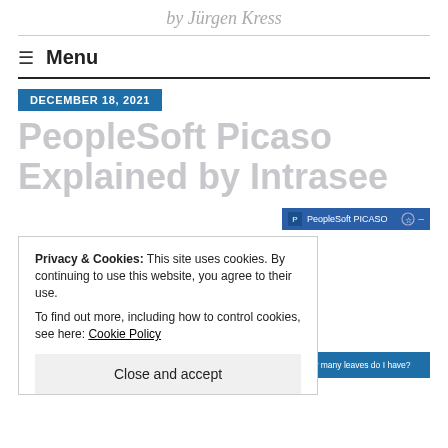by Jürgen Kress
Menu
DECEMBER 18, 2021
PeopleSoft Picaso Explained by Intrasee
[Figure (screenshot): PeopleSoft PICASO browser window screenshot with cookie consent banner overlay. Banner reads: Privacy & Cookies: This site uses cookies. By continuing to use this website, you agree to their use. To find out more, including how to control cookies, see here: Cookie Policy. Close and accept button. Bottom widget asks 'How many leaves do I have?']